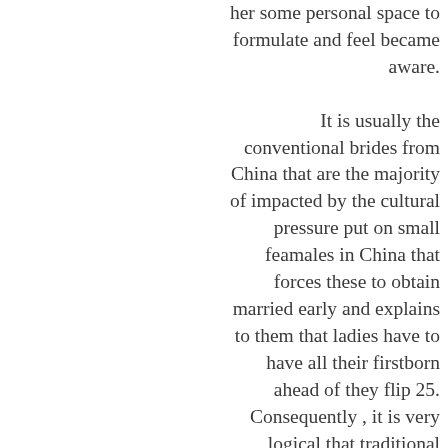her some personal space to formulate and feel became aware.

It is usually the conventional brides from China that are the majority of impacted by the cultural pressure put on small feamales in China that forces these to obtain married early and explains to them that ladies have to have all their firstborn ahead of they flip 25. Consequently , it is very logical that traditional brides to be from China happen to be eager to contain kids early on without needing to establish a job that is sturdy. In fact , in a lot of traditional Chinese families, it will be...